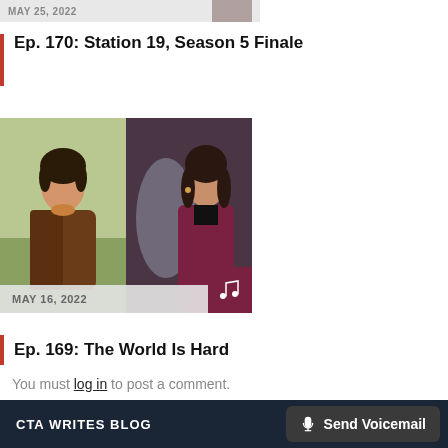MAY 25, 2022
Ep. 170: Station 19, Season 5 Finale
[Figure (photo): Two-panel image: left panel shows a man in a brown jacket seated outdoors; right panel shows a woman with curly hair in a dark maroon jacket. A music note icon appears in the bottom-right corner. Date bar reads MAY 16, 2022.]
Ep. 169: The World Is Hard
You must log in to post a comment.
CTA WRITES BLOG